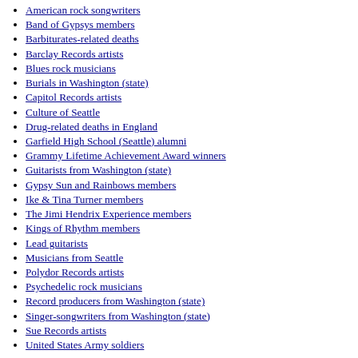American rock songwriters
Band of Gypsys members
Barbiturates-related deaths
Barclay Records artists
Blues rock musicians
Burials in Washington (state)
Capitol Records artists
Culture of Seattle
Drug-related deaths in England
Garfield High School (Seattle) alumni
Grammy Lifetime Achievement Award winners
Guitarists from Washington (state)
Gypsy Sun and Rainbows members
Ike & Tina Turner members
The Jimi Hendrix Experience members
Kings of Rhythm members
Lead guitarists
Musicians from Seattle
Polydor Records artists
Psychedelic rock musicians
Record producers from Washington (state)
Singer-songwriters from Washington (state)
Sue Records artists
United States Army soldiers